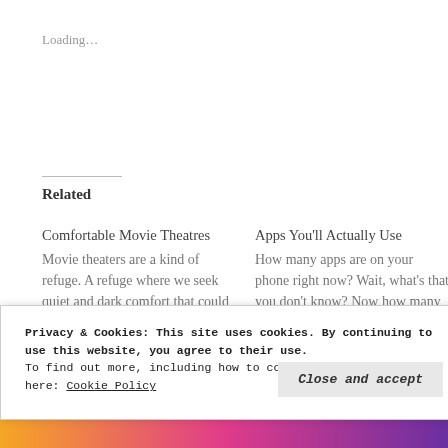Loading…
Related
Comfortable Movie Theatres
Movie theaters are a kind of refuge. A refuge where we seek quiet and dark comfort that could place us almost anywhere: A
May 23, 2016
Apps You'll Actually Use
How many apps are on your phone right now? Wait, what's that you don't know? Now how many of those apps
May 25, 2016
In "Electronics,Apps,
Privacy & Cookies: This site uses cookies. By continuing to use this website, you agree to their use.
To find out more, including how to control cookies, see here: Cookie Policy
Close and accept